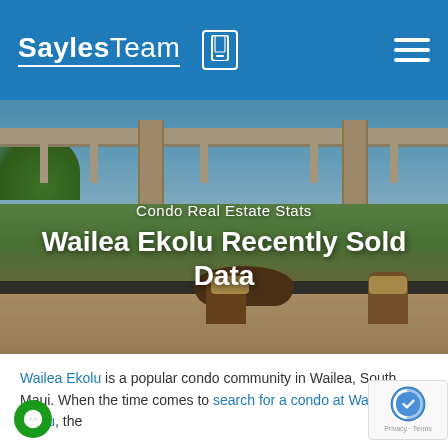SaylesTeam
[Figure (photo): Hero image of a lanai/patio of a condo in Wailea Ekolu with pergola, outdoor dining furniture, palm trees, and ocean/landscape view in background]
Condo Real Estate Stats
Wailea Ekolu Recently Sold Data
Wailea Ekolu is a popular condo comm... in Wailea, South Maui. When the time co... to search for a condo at Wailea Ekolu, the